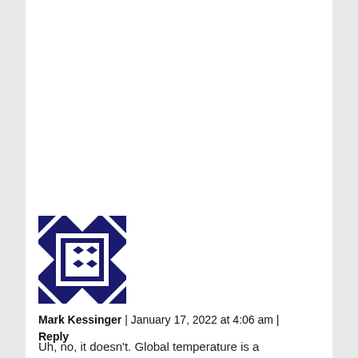[Figure (illustration): Dark navy blue quilted/geometric avatar icon with diamond pattern in center square and triangular corner pieces]
Mark Kessinger | January 17, 2022 at 4:06 am | Reply
Uh, no, it doesn't. Global temperature is a measure of the average surface ocean